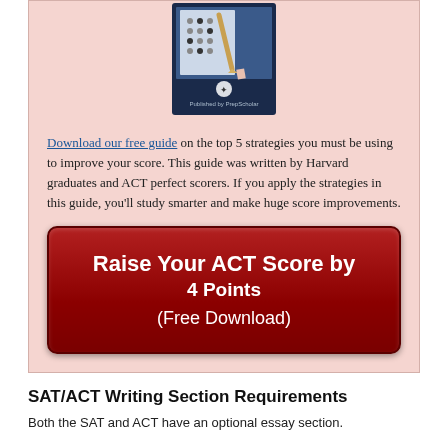[Figure (photo): A book cover showing a student filling out a multiple-choice test sheet with a pencil, published by PrepScholar]
Download our free guide on the top 5 strategies you must be using to improve your score. This guide was written by Harvard graduates and ACT perfect scorers. If you apply the strategies in this guide, you'll study smarter and make huge score improvements.
[Figure (infographic): Red button reading: Raise Your ACT Score by 4 Points (Free Download)]
SAT/ACT Writing Section Requirements
Both the SAT and ACT have an optional essay section.